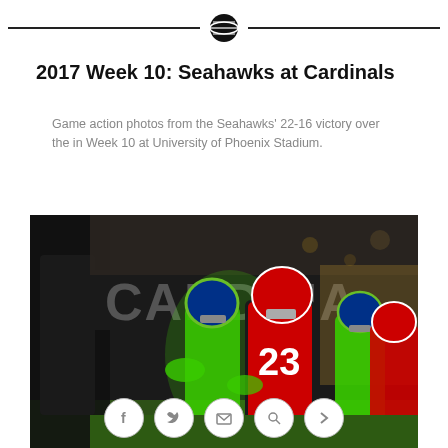NFL logo header with horizontal rules
2017 Week 10: Seahawks at Cardinals
Game action photos from the Seahawks' 22-16 victory over the in Week 10 at University of Phoenix Stadium.
[Figure (photo): NFL game action photo showing Arizona Cardinals player #23 being tackled by Seattle Seahawks players in neon green uniforms at University of Phoenix Stadium. CARDINALS signage visible in background.]
[Figure (infographic): Social sharing buttons: Facebook, Twitter, Email, Link/Search icons in circular outlines, plus a right-pointing arrow]